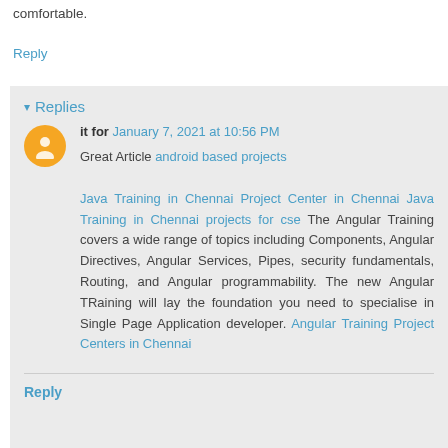comfortable.
Reply
▾ Replies
it for  January 7, 2021 at 10:56 PM
Great Article android based projects Java Training in Chennai Project Center in Chennai Java Training in Chennai projects for cse The Angular Training covers a wide range of topics including Components, Angular Directives, Angular Services, Pipes, security fundamentals, Routing, and Angular programmability. The new Angular TRaining will lay the foundation you need to specialise in Single Page Application developer. Angular Training Project Centers in Chennai
Reply